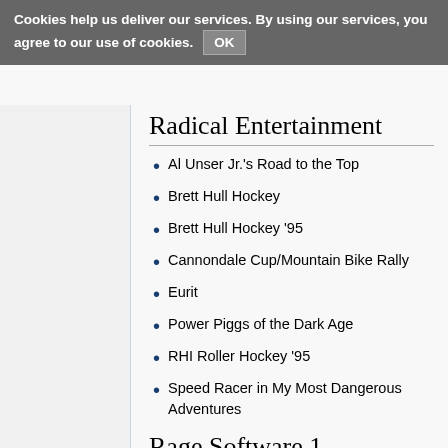Cookies help us deliver our services. By using our services, you agree to our use of cookies. OK
Radical Entertainment
Al Unser Jr.'s Road to the Top
Brett Hull Hockey
Brett Hull Hockey '95
Cannondale Cup/Mountain Bike Rally
Eurit
Power Piggs of the Dark Age
RHI Roller Hockey '95
Speed Racer in My Most Dangerous Adventures
Rage Software 1
Striker/Eric Cantona Football Challenge/World Soccer '94: Road to Glory